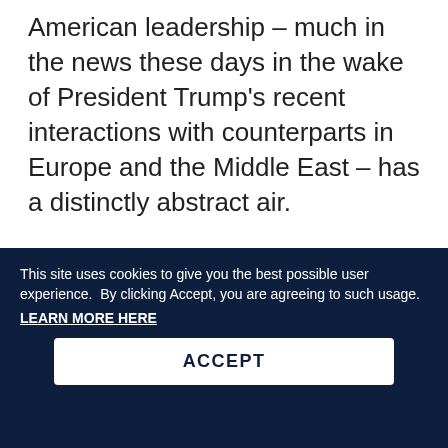American leadership – much in the news these days in the wake of President Trump's recent interactions with counterparts in Europe and the Middle East – has a distinctly abstract air.
1  2  ▶  ▶▶
SORT BY
| Relevance | Date | Title |
| --- | --- | --- |
This site uses cookies to give you the best possible user experience.  By clicking Accept, you are agreeing to such usage.
LEARN MORE HERE
ACCEPT